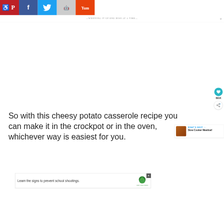[Figure (screenshot): Social share bar with Pinterest (red), Facebook (dark blue), Twitter (light blue), Reddit (gray), and Yummly (orange) buttons across the top]
WHIPPING IT UP ONE DISH AT A TIME
[Figure (screenshot): White content area with heart/favorite button showing 691K saves and a share circle button on the right side]
So with this cheesy potato casserole recipe you can make it in the crockpot or in the oven, whichever way is easiest for you.
[Figure (screenshot): What's Next callout box showing Slow Cooker Meatloaf with a thumbnail image]
[Figure (screenshot): Advertisement banner: Learn the signs to prevent school shootings. Sandy Hook Promise logo.]